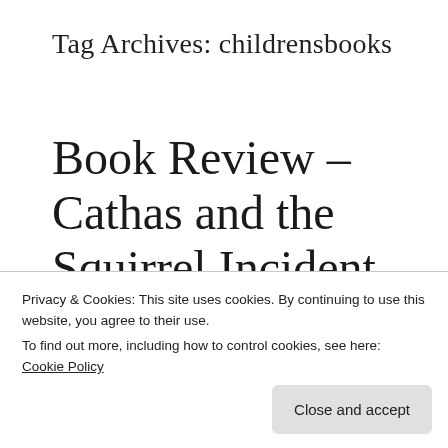Tag Archives: childrensbooks
Book Review – Cathas and the Squirrel Incident
[Figure (illustration): Partially visible book cover with warm beige background and two dark circular shapes (character heads) visible at the bottom]
Privacy & Cookies: This site uses cookies. By continuing to use this website, you agree to their use.
To find out more, including how to control cookies, see here: Cookie Policy